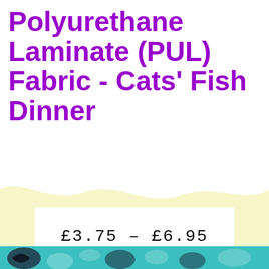Polyurethane Laminate (PUL) Fabric - Cats' Fish Dinner
£3.75 – £6.95
[Figure (illustration): Decorative wavy yellow/cream band background shape with a white price box overlay on top, and a partial fabric pattern image at the bottom edge showing teal and black cat/fish design.]